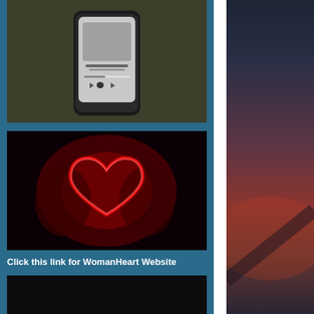[Figure (photo): Smartphone showing a music player interface, top-down view on dark background]
[Figure (photo): Neon glowing red heart sign held by hands against a dark background]
Click this link for WomanHeart Website
[Figure (photo): Hand writing with a pen next to a glass with a plant, dark moody setting]
[Figure (photo): Gradient sky background transitioning from dark blue-gray to deep red-orange, right column]